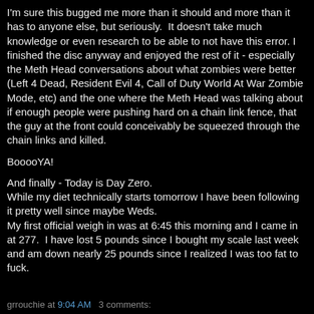I'm sure this bugged me more than it should and more than it has to anyone else, but seriously.  It doesn't take much knowledge or even research to be able to not have this error. I finished the disc anyway and enjoyed the rest of it - especially the Meth Head conversations about what zombies were better (Left 4 Dead, Resident Evil 4, Call of Duty World At War Zombie Mode, etc) and the one where the Meth Head was talking about if enough people were pushing hard on a chain link fence, that the guy at the front could conceivably be squeezed through the chain links and killed.
BooooYA!
And finally - Today is Day Zero.
While my diet technically starts tomorrow I have been following it pretty well since maybe Weds.
My first official weigh in was at 6:45 this morning and I came in at 277.  I have lost 5 pounds since I bought my scale last week and am down nearly 25 pounds since I realized I was too fat to fuck.
grrouchie at 9:04 AM   3 comments: